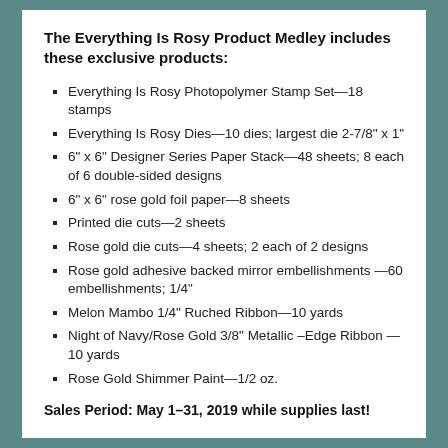The Everything Is Rosy Product Medley includes these exclusive products:
Everything Is Rosy Photopolymer Stamp Set—18 stamps
Everything Is Rosy Dies—10 dies; largest die 2-7/8" x 1"
6" x 6" Designer Series Paper Stack—48 sheets; 8 each of 6 double-sided designs
6" x 6" rose gold foil paper—8 sheets
Printed die cuts—2 sheets
Rose gold die cuts—4 sheets; 2 each of 2 designs
Rose gold adhesive backed mirror embellishments—60 embellishments; 1/4"
Melon Mambo 1/4" Ruched Ribbon—10 yards
Night of Navy/Rose Gold 3/8" Metallic –Edge Ribbon—10 yards
Rose Gold Shimmer Paint—1/2 oz.
Sales Period: May 1–31, 2019 while supplies last!